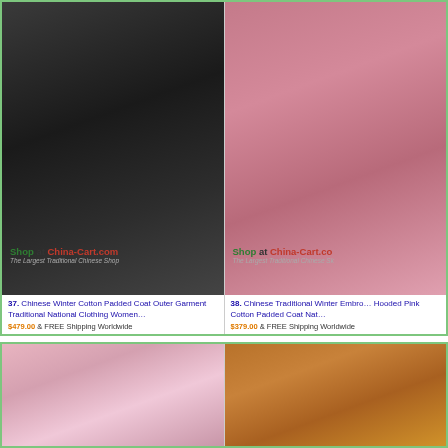[Figure (photo): Product listing image of black Chinese winter cotton padded coat, worn by model indoors]
37. Chinese Winter Cotton Padded Coat Outer Garment Traditional National Clothing Women… $479.00 & FREE Shipping Worldwide
[Figure (photo): Product listing image of pink hooded Chinese traditional winter embroidered cotton padded coat, worn outdoors]
38. Chinese Traditional Winter Embro… Hooded Pink Cotton Padded Coat Nat… $379.00 & FREE Shipping Worldwide
[Figure (photo): Product listing image of pink embroidered Chinese garment, worn by model indoors]
[Figure (photo): Product listing image of orange/brown floral Chinese traditional coat on a mannequin]